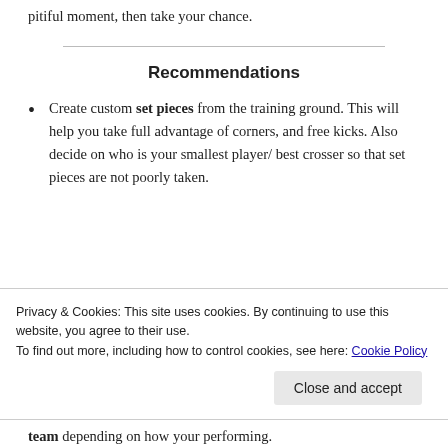pitiful moment, then take your chance.
Recommendations
Create custom set pieces from the training ground. This will help you take full advantage of corners, and free kicks. Also decide on who is your smallest player/ best crosser so that set pieces are not poorly taken.
Privacy & Cookies: This site uses cookies. By continuing to use this website, you agree to their use.
To find out more, including how to control cookies, see here: Cookie Policy
team depending on how your performing.